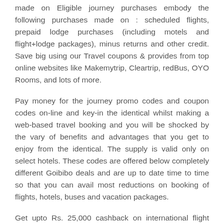made on Eligible journey purchases embody the following purchases made on : scheduled flights, prepaid lodge purchases (including motels and flight+lodge packages), minus returns and other credit. Save big using our Travel coupons & provides from top online websites like Makemytrip, Cleartrip, redBus, OYO Rooms, and lots of more.
Pay money for the journey promo codes and coupon codes on-line and key-in the identical whilst making a web-based travel booking and you will be shocked by the vary of benefits and advantages that you get to enjoy from the identical. The supply is valid only on select hotels. These codes are offered below completely different Goibibo deals and are up to date time to time so that you can avail most reductions on booking of flights, hotels, buses and vacation packages.
Get upto Rs. 25,000 cashback on international flight originating from India. Provide is valid on a booking of